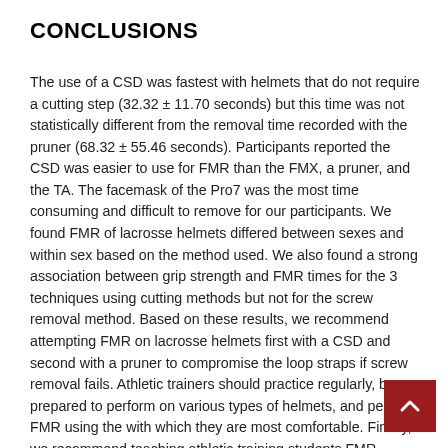CONCLUSIONS
The use of a CSD was fastest with helmets that do not require a cutting step (32.32 ± 11.70 seconds) but this time was not statistically different from the removal time recorded with the pruner (68.32 ± 55.46 seconds). Participants reported the CSD was easier to use for FMR than the FMX, a pruner, and the TA. The facemask of the Pro7 was the most time consuming and difficult to remove for our participants. We found FMR of lacrosse helmets differed between sexes and within sex based on the method used. We also found a strong association between grip strength and FMR times for the 3 techniques using cutting methods but not for the screw removal method. Based on these results, we recommend attempting FMR on lacrosse helmets first with a CSD and second with a pruner to compromise the loop straps if screw removal fails. Athletic trainers should practice regularly, be prepared to perform on various types of helmets, and perform FMR using the with which they are most comfortable. Finally, we recommend teaching athletic training students FMR techniques for lacrosse helmets during standard education.